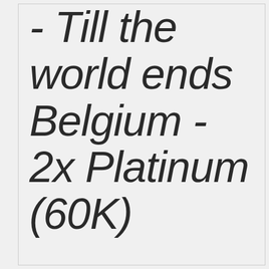- Till the world ends Belgium - 2x Platinum (60K)